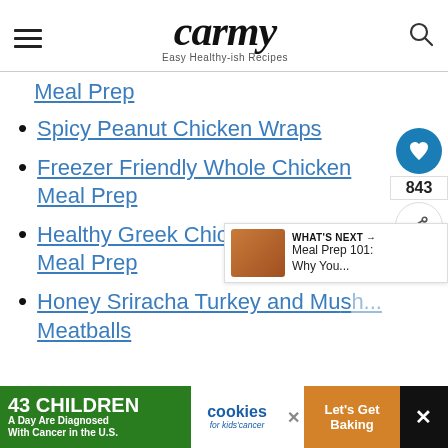carmy — Easy Healthy-ish Recipes
Meal Prep
Spicy Peanut Chicken Wraps
Freezer Friendly Whole Chicken Meal Prep
Healthy Greek Chicken and Rice Meal Prep
Honey Sriracha Turkey and Mushroom Meatballs
[Figure (screenshot): Social sharing widget with heart icon (843 saves) and share button]
[Figure (screenshot): What's Next banner: Meal Prep 101: Why You...]
[Figure (advertisement): 43 CHILDREN A Day Are Diagnosed With Cancer in the U.S. — cookies for kids' cancer — Let's Get Baking ad]